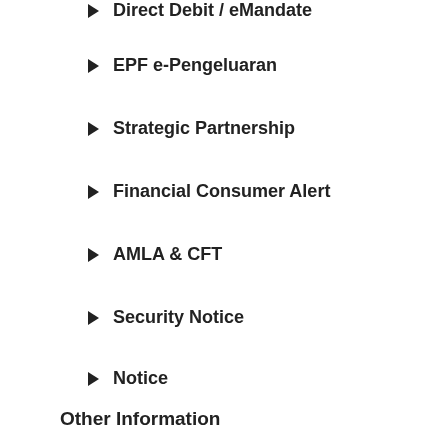Direct Debit / eMandate
EPF e-Pengeluaran
Strategic Partnership
Financial Consumer Alert
AMLA & CFT
Security Notice
Notice
Other Information